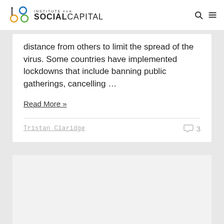Institute for Social Capital
distance from others to limit the spread of the virus. Some countries have implemented lockdowns that include banning public gatherings, cancelling …
Read More »
Tristan Claridge
3